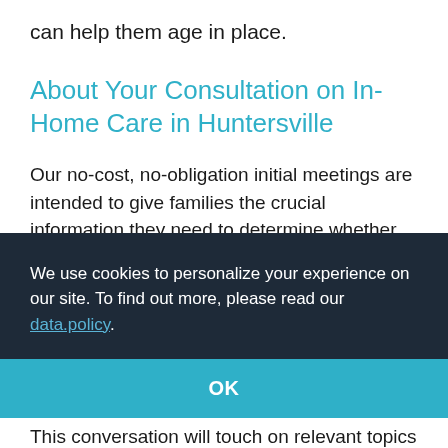can help them age in place.
About Your Consultation on In-Home Care in Huntersville
Our no-cost, no-obligation initial meetings are intended to give families the crucial information they need to determine whether our services are the right fit for their situation.
We use cookies to personalize your experience on our site. To find out more, please read our data.policy.
OK
This conversation will touch on relevant topics